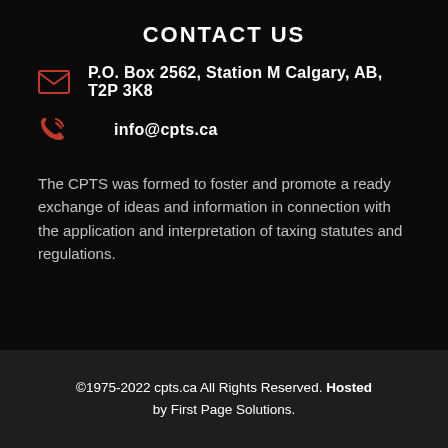CONTACT US
P.O. Box 2562, Station M Calgary, AB, T2P 3K8
info@cpts.ca
The CPTS was formed to foster and promote a ready exchange of ideas and information in connection with the application and interpretation of taxing statutes and regulations.
©1975-2022 cpts.ca All Rights Reserved. Hosted by First Page Solutions.